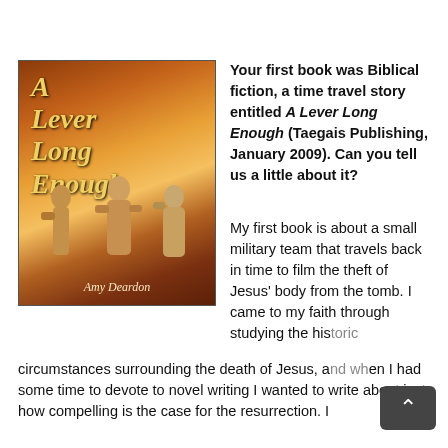[Figure (illustration): Book cover of 'A Lever Long Enough' by Amy Deardon, showing three figures in ancient Middle Eastern attire walking against a dramatic golden desert sky background. The title is in gold italic text and the author name is at the bottom.]
Your first book was Biblical fiction, a time travel story entitled A Lever Long Enough (Taegais Publishing, January 2009). Can you tell us a little about it?
My first book is about a small military team that travels back in time to film the theft of Jesus' body from the tomb. I came to my faith through studying the historic circumstances surrounding the death of Jesus, and when I had some time to devote to novel writing I wanted to write about just how compelling is the case for the resurrection. I